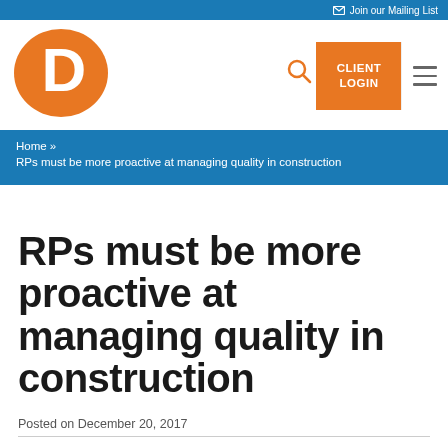Join our Mailing List
[Figure (logo): Orange oval logo with white letter D]
CLIENT LOGIN
Home » RPs must be more proactive at managing quality in construction
RPs must be more proactive at managing quality in construction
Posted on December 20, 2017